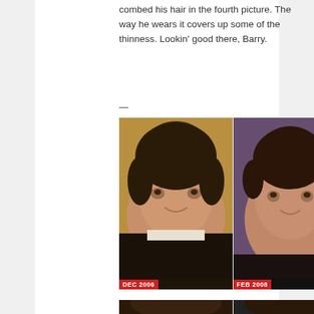combed his hair in the fourth picture. The way he wears it covers up some of the thinness. Lookin' good there, Barry.
—
[Figure (photo): Two side-by-side photos of a man. Left photo labeled DEC 2006 shows the man with fuller face and dark hair, wearing a white shirt and dark jacket. Right photo labeled FEB 2008 shows the same man with a thinner face and shorter hair, wearing a black shirt.]
[Figure (photo): Two side-by-side close-up photos of the top of a man's head showing his hair from above/behind.]